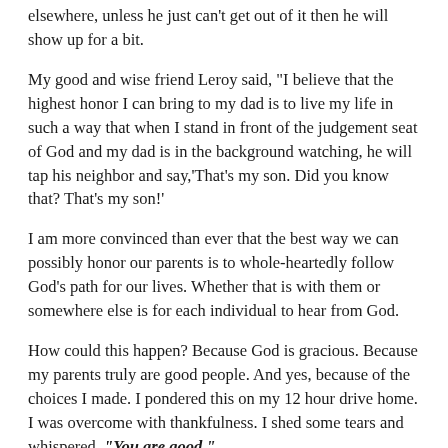elsewhere, unless he just can't get out of it then he will show up for a bit.
My good and wise friend Leroy said, "I believe that the highest honor I can bring to my dad is to live my life in such a way that when I stand in front of the judgement seat of God and my dad is in the background watching, he will tap his neighbor and say,'That's my son. Did you know that? That's my son!'
I am more convinced than ever that the best way we can possibly honor our parents is to whole-heartedly follow God's path for our lives. Whether that is with them or somewhere else is for each individual to hear from God.
How could this happen? Because God is gracious. Because my parents truly are good people. And yes, because of the choices I made. I pondered this on my 12 hour drive home. I was overcome with thankfulness. I shed some tears and whispered, "You are good."